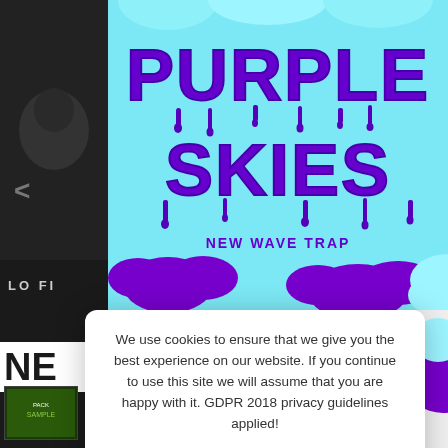[Figure (illustration): Purple Skies New Wave Trap music pack banner with dripping purple balloon-style lettering spelling PURPLE SKIES and subtext NEW WAVE TRAP, with cyan/light blue sky background and purple cloud illustrations]
We use cookies to ensure that we give you the best experience on our website. If you continue to use this site we will assume that you are happy with it. GDPR 2018 privacy guidelines applied!
MORE INFO
ACCEPT
NE
[Figure (illustration): Small thumbnail image of a music pack product]
POISON